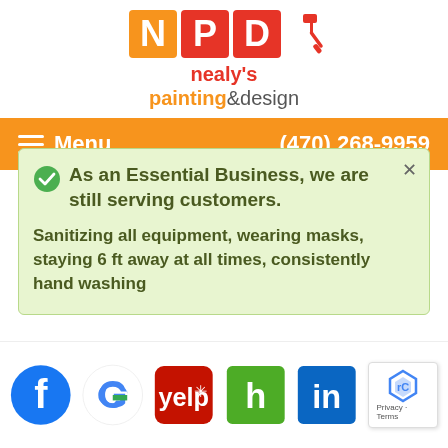[Figure (logo): Nealy's Painting & Design logo with NPD letters in orange and red squares, paint roller icon, and company name text]
Menu  (470) 268-9959
As an Essential Business, we are still serving customers. Sanitizing all equipment, wearing masks, staying 6 ft away at all times, consistently hand washing
[Figure (infographic): Social media icons row: Facebook, Google, Yelp, Houzz, LinkedIn, reCAPTCHA badge with Privacy - Terms]